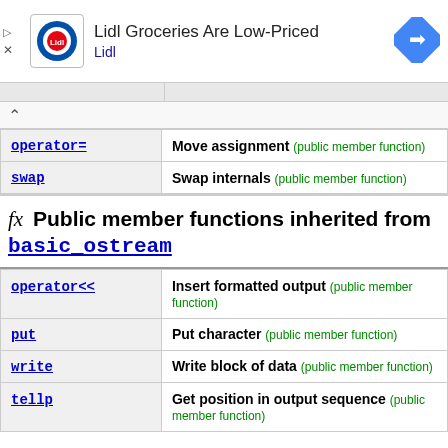[Figure (screenshot): Lidl advertisement banner with Lidl logo, text 'Lidl Groceries Are Low-Priced' and 'Lidl', and a navigation/maps icon on the right.]
| Function | Description |
| --- | --- |
| operator= | Move assignment (public member function) |
| swap | Swap internals (public member function) |
fx Public member functions inherited from basic_ostream
| Function | Description |
| --- | --- |
| operator<< | Insert formatted output (public member function) |
| put | Put character (public member function) |
| write | Write block of data (public member function) |
| tellp | Get position in output sequence (public member function) |